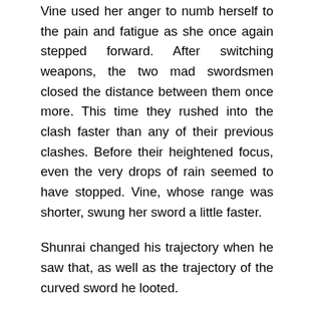Vine used her anger to numb herself to the pain and fatigue as she once again stepped forward. After switching weapons, the two mad swordsmen closed the distance between them once more. This time they rushed into the clash faster than any of their previous clashes. Before their heightened focus, even the very drops of rain seemed to have stopped. Vine, whose range was shorter, swung her sword a little faster.
Shunrai changed his trajectory when he saw that, as well as the trajectory of the curved sword he looted.
The drops of rain deflected as their two weapons clashed once more. Drawing a circle, the two of them separated from each other. Normally, Vine would have stepped back here, but she instead held ground. Vine held up the remaining half part of the scimitar over her shoulder, and forcefully swung it with only one arm